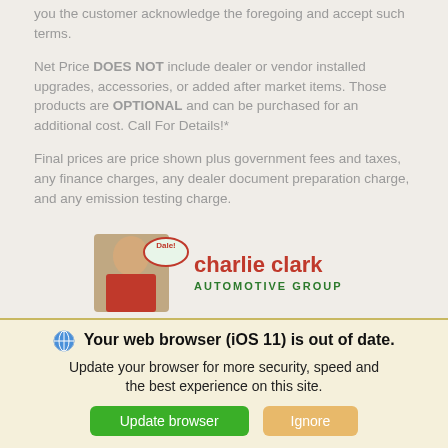you the customer acknowledge the foregoing and accept such terms.
Net Price DOES NOT include dealer or vendor installed upgrades, accessories, or added after market items. Those products are OPTIONAL and can be purchased for an additional cost. Call For Details!*
Final prices are price shown plus government fees and taxes, any finance charges, any dealer document preparation charge, and any emission testing charge.
[Figure (logo): Charlie Clark Automotive Group logo with person photo and 'Dale!' speech bubble]
Your web browser (iOS 11) is out of date. Update your browser for more security, speed and the best experience on this site.